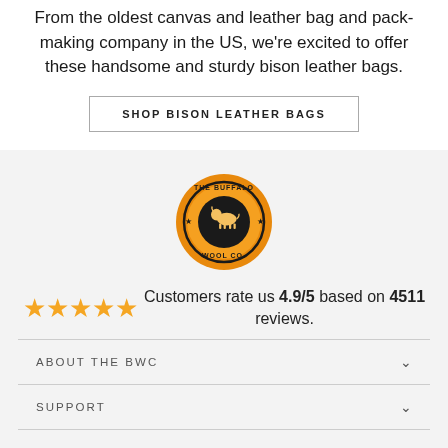From the oldest canvas and leather bag and pack-making company in the US, we're excited to offer these handsome and sturdy bison leather bags.
SHOP BISON LEATHER BAGS
[Figure (logo): The Buffalo Wool Co. circular logo with a bison silhouette, orange and black color scheme with stars]
Customers rate us 4.9/5 based on 4511 reviews.
ABOUT THE BWC
SUPPORT
CONTACT US